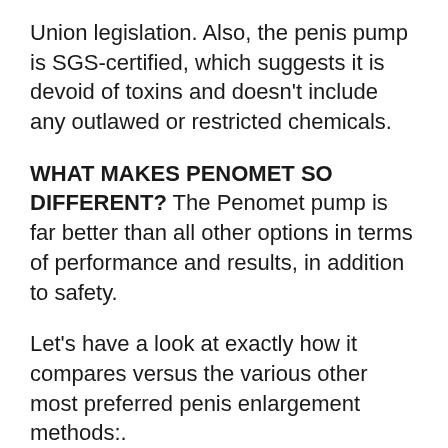Union legislation. Also, the penis pump is SGS-certified, which suggests it is devoid of toxins and doesn’t include any outlawed or restricted chemicals.
WHAT MAKES PENOMET SO DIFFERENT? The Penomet pump is far better than all other options in terms of performance and results, in addition to safety.
Let’s have a look at exactly how it compares versus the various other most preferred penis enlargement methods:.
Surgical improvement: There are a huge selection of disadvantages to this method of penis augmentation. To begin, surgery would set you back at least $4000– which’s for a